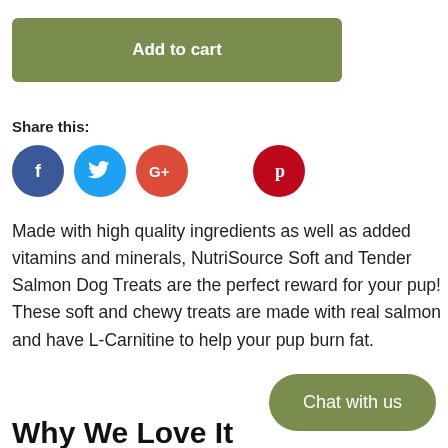Add to cart
Share this:
[Figure (illustration): Social media sharing icons: Facebook (blue circle with f), Twitter (blue circle with bird), Google+ (red circle with G+), Pinterest (red circle with P)]
Made with high quality ingredients as well as added vitamins and minerals, NutriSource Soft and Tender Salmon Dog Treats are the perfect reward for your pup! These soft and chewy treats are made with real salmon and have L-Carnitine to help your pup burn fat.
Chat with us
Why We Love It